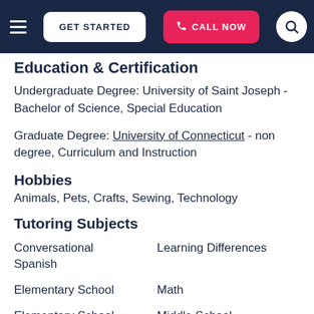GET STARTED | CALL NOW
Education & Certification
Undergraduate Degree: University of Saint Joseph - Bachelor of Science, Special Education
Graduate Degree: University of Connecticut - non degree, Curriculum and Instruction
Hobbies
Animals, Pets, Crafts, Sewing, Technology
Tutoring Subjects
Conversational Spanish
Learning Differences
Elementary School
Math
Elementary School
Middle School Reading